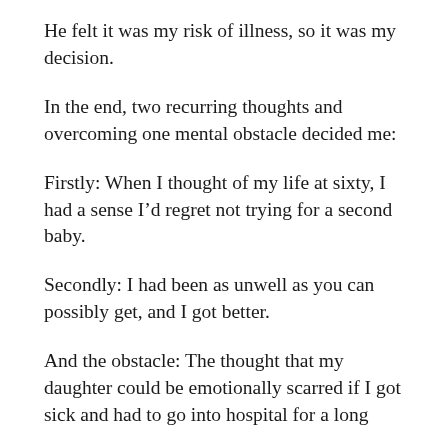He felt it was my risk of illness, so it was my decision.
In the end, two recurring thoughts and overcoming one mental obstacle decided me:
Firstly: When I thought of my life at sixty, I had a sense I’d regret not trying for a second baby.
Secondly: I had been as unwell as you can possibly get, and I got better.
And the obstacle: The thought that my daughter could be emotionally scarred if I got sick and had to go into hospital for a long